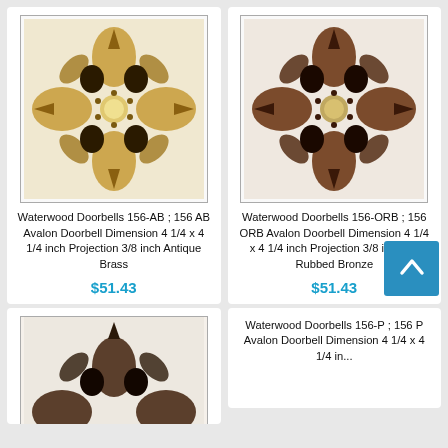[Figure (photo): Ornate antique brass doorbell button with floral/medallion design]
Waterwood Doorbells 156-AB ; 156 AB Avalon Doorbell Dimension 4 1/4 x 4 1/4 inch Projection 3/8 inch Antique Brass
$51.43
[Figure (photo): Ornate oil rubbed bronze doorbell button with floral/medallion design]
Waterwood Doorbells 156-ORB ; 156 ORB Avalon Doorbell Dimension 4 1/4 x 4 1/4 inch Projection 3/8 inch Oil Rubbed Bronze
$51.43
[Figure (photo): Dark bronze doorbell button with floral design, partially visible]
Waterwood Doorbells 156-P ; 156 P Avalon Doorbell Dimension 4 1/4 x 4 1/4 inch...